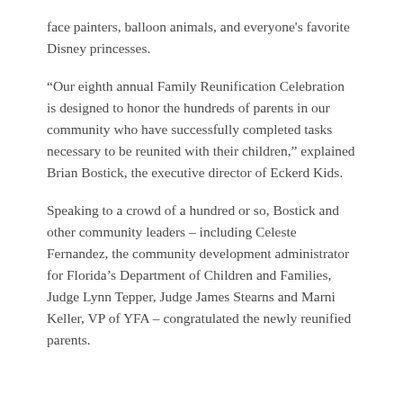face painters, balloon animals, and everyone's favorite Disney princesses.
“Our eighth annual Family Reunification Celebration is designed to honor the hundreds of parents in our community who have successfully completed tasks necessary to be reunited with their children,” explained Brian Bostick, the executive director of Eckerd Kids.
Speaking to a crowd of a hundred or so, Bostick and other community leaders – including Celeste Fernandez, the community development administrator for Florida’s Department of Children and Families, Judge Lynn Tepper, Judge James Stearns and Marni Keller, VP of YFA – congratulated the newly reunified parents.